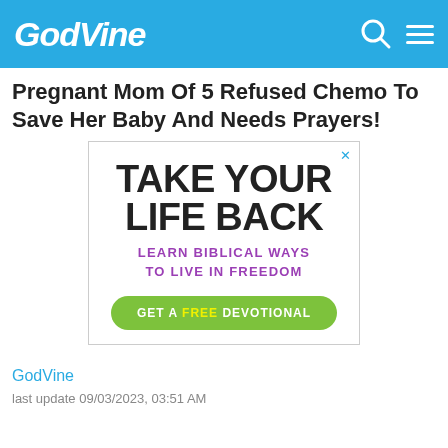GodVine
Pregnant Mom Of 5 Refused Chemo To Save Her Baby And Needs Prayers!
[Figure (screenshot): Advertisement banner with text: TAKE YOUR LIFE BACK / LEARN BIBLICAL WAYS TO LIVE IN FREEDOM / GET A FREE DEVOTIONAL button]
GodVine
last update 09/03/2023, 03:51 AM